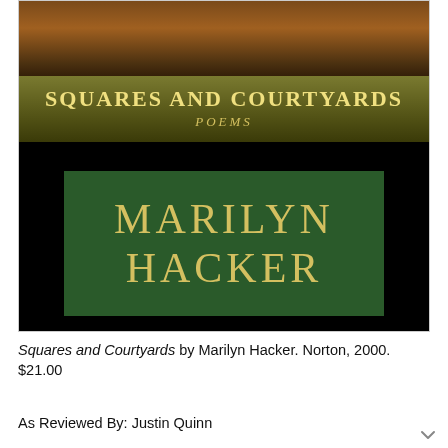[Figure (photo): Book cover of 'Squares and Courtyards: Poems' by Marilyn Hacker, published by Norton. The cover shows a dark background with an olive/gold title band at the top reading 'SQUARES AND COURTYARDS / POEMS', and a green rectangular box in the center with the author name 'MARILYN HACKER' in large gold serif letters.]
Squares and Courtyards by Marilyn Hacker. Norton, 2000. $21.00
As Reviewed By: Justin Quinn